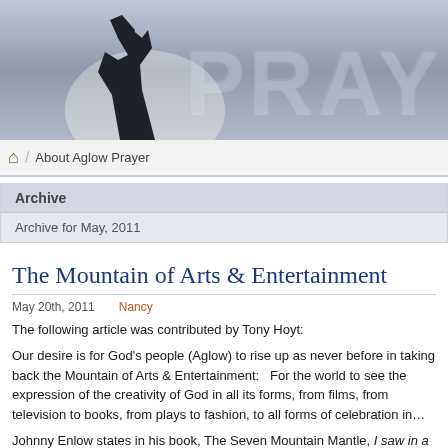[Figure (photo): Website banner header showing a silhouette of a person with arm raised against a bright sky background, with large embossed letters 'PRAY' partially visible on the right side]
About Aglow Prayer
Archive
Archive for May, 2011
The Mountain of Arts & Entertainment
May 20th, 2011    Nancy
The following article was contributed by Tony Hoyt:
Our desire is for God's people (Aglow) to rise up as never before in taking back the Mountain of Arts & Entertainment:   For the world to see the expression of the creativity of God in all its forms from films, from television to books, from plays to fashion, to all forms of celebration in…
Johnny Enlow states in his book, The Seven Mountain Mantle, I saw in a vision the treasure trove of golden movies available for His sons and daughters to access. … some of the best stories ever told to humanity.  There are epic stories of incredi…